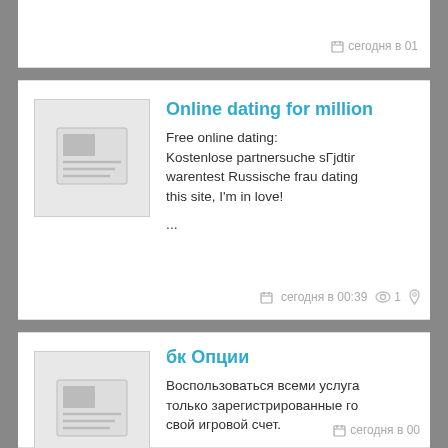сегодня в 01
Online dating for million
Free online dating: Kostenlose partnersuche sГjdting warentest Russische frau dating this site, I'm in love!
...
сегодня в 00:39  1
бк Опции
Воспользоваться всеми услуга только зарегистрированные го свой игровой счет.

Этот способ наиболее популяр требует заполнения анкеты и з
сегодня в 00